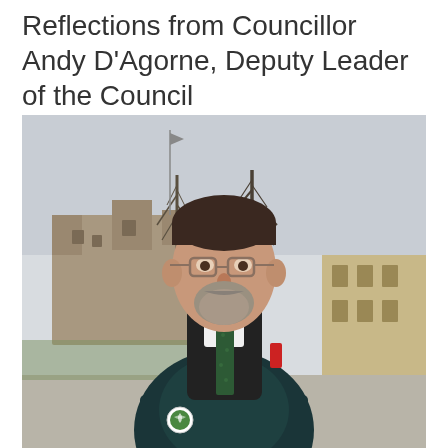Reflections from Councillor Andy D'Agorne, Deputy Leader of the Council
[Figure (photo): Photograph of Councillor Andy D'Agorne standing outdoors in front of York Castle ruins and a stone building, wearing a dark coat, dark green sweater, white shirt and green patterned tie, with a small circular badge on his lapel. He has dark hair, glasses, and a grey beard. Trees without leaves are visible in the background against an overcast sky.]